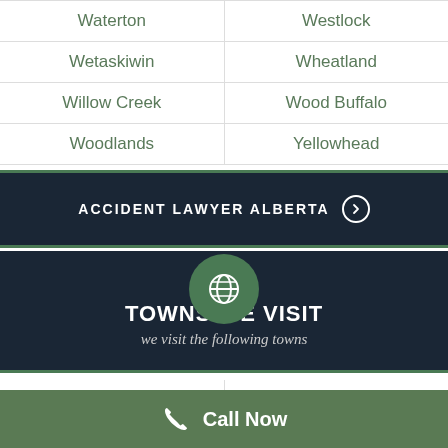| Col1 | Col2 |
| --- | --- |
| Waterton | Westlock |
| Wetaskiwin | Wheatland |
| Willow Creek | Wood Buffalo |
| Woodlands | Yellowhead |
ACCIDENT LAWYER ALBERTA ▶
[Figure (illustration): Green circle with white globe/world icon]
TOWNS WE VISIT
we visit the following towns
| Col1 | Col2 |
| --- | --- |
| Chauvin | Edgerton |
| Irma | Fabyan |
| Greenshields | Ribstone |
Call Now